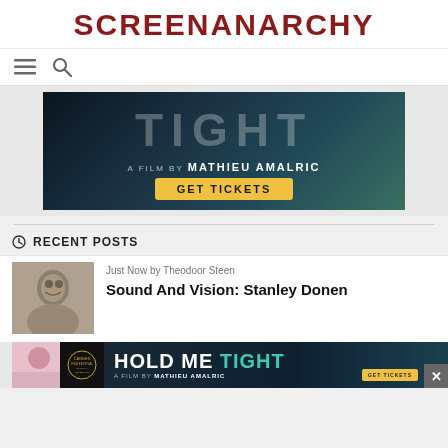SCREENANARCHY
[Figure (logo): Hamburger menu icon and search icon navigation bar]
[Figure (screenshot): Advertisement banner for 'Hold Me Tight' a film by Mathieu Amalric with GET TICKETS button, dark teal background]
RECENT POSTS
[Figure (photo): Thumbnail photo of Stanley Donen, black and white portrait]
Just Now by Theodoor Steen
Sound And Vision: Stanley Donen
[Figure (screenshot): Bottom advertisement banner for Hold Me Tight film by Mathieu Amalric with Cannes Film Festival Official Selection logo and GET TICKETS button]